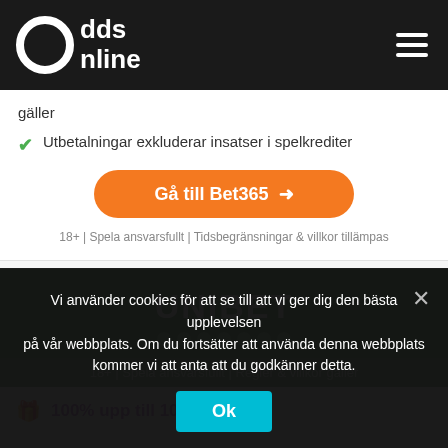Oddsonline
gäller
Utbetalningar exkluderar insatser i spelkrediter
Gå till Bet365 →
18+ | Spela ansvarsfullt | Tidsbegränsningar & villkor tillämpas
[Figure (logo): UNIBET logo on green background with green dots]
18+ | Spela ansvarsfullt | Regler & villkor gäller
100% upp till 1000 kronor
Vi använder cookies för att se till att vi ger dig den bästa upplevelsen på vår webbplats. Om du fortsätter att använda denna webbplats kommer vi att anta att du godkänner detta.